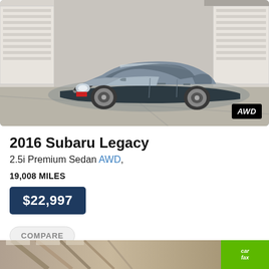[Figure (photo): Silver 2016 Subaru Legacy sedan photographed from front-left angle in a garage/warehouse setting. AWD badge shown in bottom-right corner of photo.]
2016 Subaru Legacy
2.5i Premium Sedan AWD,
19,008 MILES
$22,997
COMPARE
#83069
[Figure (photo): Partial view of another vehicle listing at the bottom of the page, with a Carfax badge visible.]